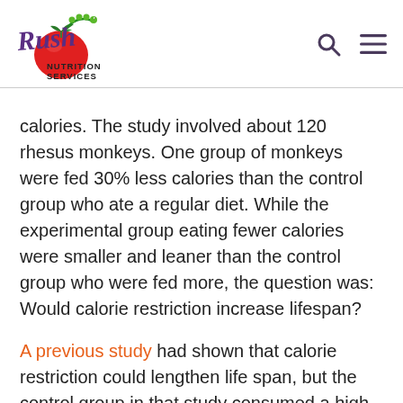[Figure (logo): Rush Nutrition Services logo — script text 'Rush' in purple with a red tomato illustration and leaves, 'NUTRITION SERVICES' in bold black text below]
calories. The study involved about 120 rhesus monkeys. One group of monkeys were fed 30% less calories than the control group who ate a regular diet. While the experimental group eating fewer calories were smaller and leaner than the control group who were fed more, the question was: Would calorie restriction increase lifespan?
A previous study had shown that calorie restriction could lengthen life span, but the control group in that study consumed a high sugar, unhealthy diet. Over the 25-year span of